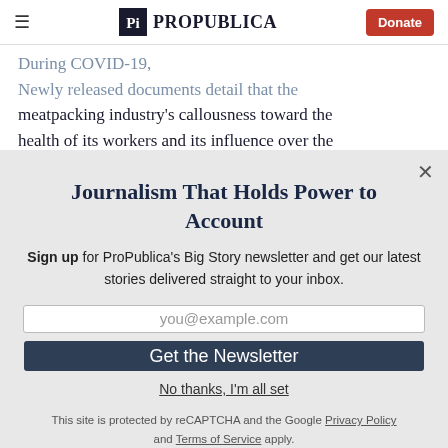ProPublica — Donate
Newly released documents detail that the meatpacking industry's callousness toward the health of its workers and its influence over the
Journalism That Holds Power to Account
Sign up for ProPublica's Big Story newsletter and get our latest stories delivered straight to your inbox.
you@example.com
Get the Newsletter
No thanks, I'm all set
This site is protected by reCAPTCHA and the Google Privacy Policy and Terms of Service apply.